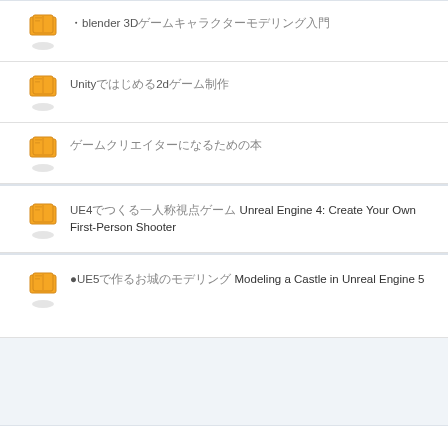・blender 3Dゲームキャラクターモデリング入門
Unityではじめる2dゲーム制作
ゲームクリエイターになるための本
UE4でつくる一人称視点ゲーム Unreal Engine 4: Create Your Own First-Person Shooter
●UE5で作るお城のモデリング Modeling a Castle in Unreal Engine 5